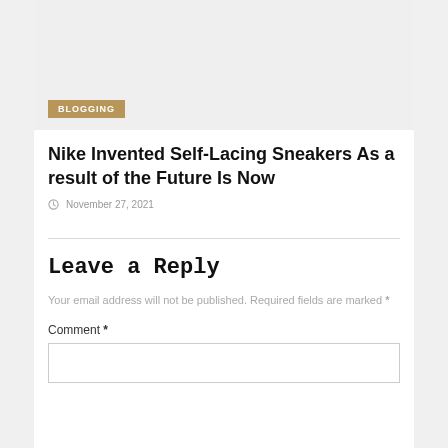[Figure (photo): Gray image area placeholder with a gold/tan BLOGGING badge in the lower left]
Nike Invented Self-Lacing Sneakers As a result of the Future Is Now
November 27, 2021
Leave a Reply
Your email address will not be published. Required fields are marked *
Comment *